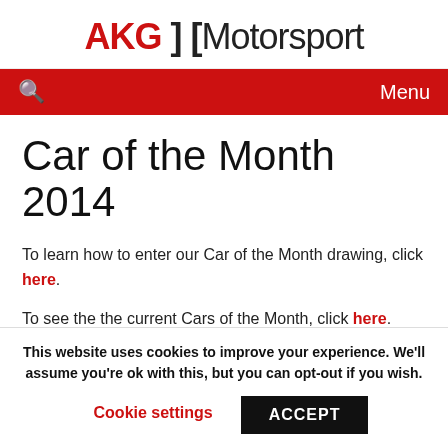AKG ] [ Motorsport
Car of the Month 2014
To learn how to enter our Car of the Month drawing, click here.
To see the the current Cars of the Month, click here.
[row]
This website uses cookies to improve your experience. We'll assume you're ok with this, but you can opt-out if you wish.
Cookie settings  ACCEPT